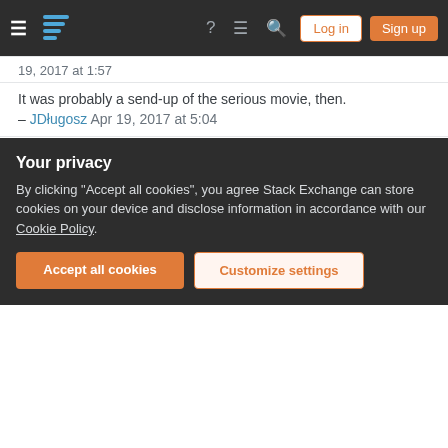Stack Exchange navigation bar with Log in and Sign up buttons
19, 2017 at 1:57
It was probably a send-up of the serious movie, then. – JDługosz Apr 19, 2017 at 5:04
This is the kind of information that could be spread in a superstitious way by story tellers or drunkards, for example. – user37130 Apr 19, 2017 at 9:49
Add a comment
They would not be sanctioned by either a
Your privacy
By clicking "Accept all cookies", you agree Stack Exchange can store cookies on your device and disclose information in accordance with our Cookie Policy.
Accept all cookies
Customize settings